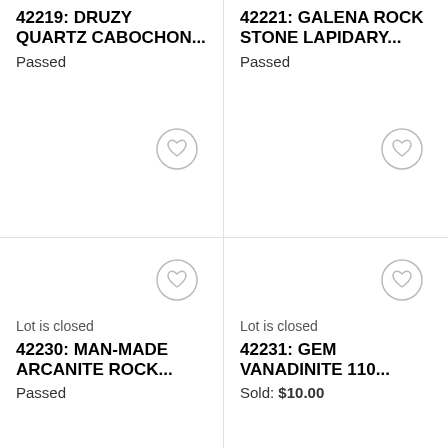42219: DRUZY QUARTZ CABOCHON...
Passed
[Figure (other): Heart/favorite button icon (circle with heart outline) for lot 42219]
42221: GALENA ROCK STONE LAPIDARY...
Passed
[Figure (other): Heart/favorite button icon (circle with heart outline) for lot 42221]
Lot is closed
42230: MAN-MADE ARCANITE ROCK...
Passed
[Figure (other): Heart/favorite button icon (circle with heart outline) for lot 42230]
Lot is closed
42231: GEM VANADINITE 110...
Sold: $10.00
[Figure (other): Heart/favorite button icon (circle with heart outline) for lot 42231]